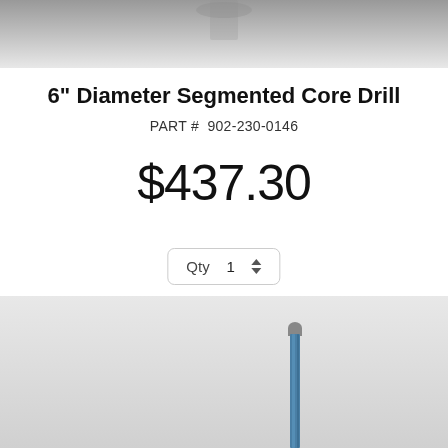[Figure (photo): Top portion of a segmented core drill bit product photo on light gray background]
6" Diameter Segmented Core Drill
PART #  902-230-0146
$437.30
Qty  1
ADD TO CART
[Figure (photo): Bottom portion showing a segmented core drill bit with blue shaft on gray background]